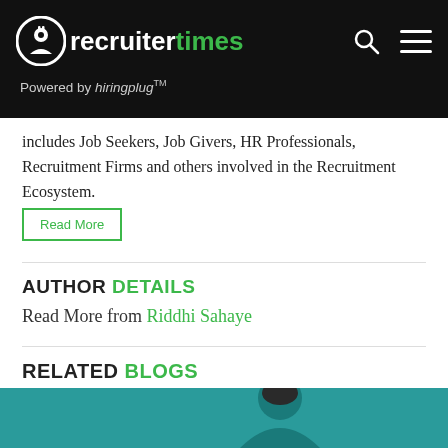recruitertimes — Powered by hiringplug™
includes Job Seekers, Job Givers, HR Professionals, Recruitment Firms and others involved in the Recruitment Ecosystem.
Read More
AUTHOR DETAILS
Read More from Riddhi Sahaye
RELATED BLOGS
[Figure (photo): Blog preview image with teal background showing a person]